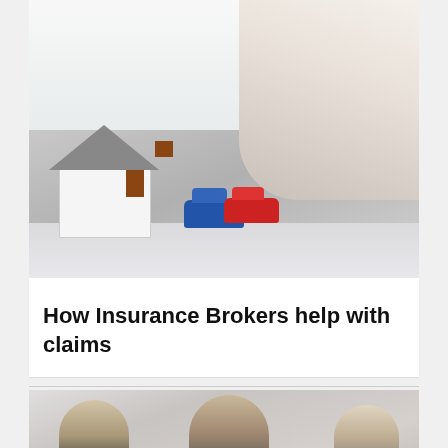[Figure (photo): Photo of a model house and two toy cars (blue and red) on a table, with a person's hands gesturing in the background — representing insurance broker consultation]
How Insurance Brokers help with claims
[Figure (photo): Photo of three people in a meeting, smiling — representing insurance brokers and clients discussing claims]